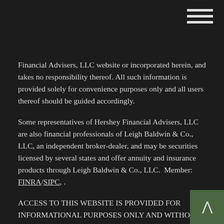Financial Advisers, LLC website or incorporated herein, and takes no responsibility thereof. All such information is provided solely for convenience purposes only and all users thereof should be guided accordingly.
Some representatives of Hershey Financial Advisers, LLC are also financial professionals of Leigh Baldwin & Co., LLC, an independent broker-dealer, and may be securities licensed by several states and offer annuity and insurance products through Leigh Baldwin & Co., LLC.  Member: FINRA/SIPC, .
ACCESS TO THIS WEBSITE IS PROVIDED FOR INFORMATIONAL PURPOSES ONLY AND WITHOUT ANY WARRANTIES, EXPRESSED OR IMPLIED, REGARDING THE ACCURACY, COMPLETENESS, TIMELINESS, OR RESULTS OBTAINED FROM ANY INFORMATION POSTED ON THIS WEBSITE OR ANY THIRD PARTY WEBSITE LINKED TO THIS WEBSITE.